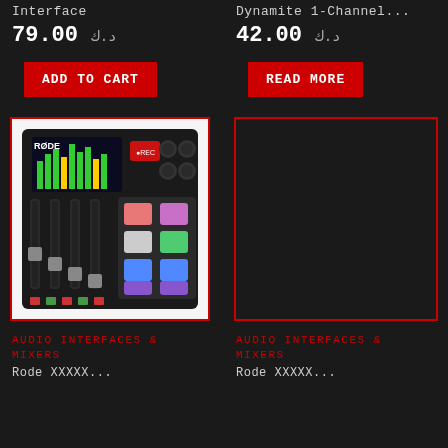Interface
Dynamite 1-Channel...
د.ك 79.00
د.ك 42.00
ADD TO CART
READ MORE
[Figure (photo): RODE audio mixer/interface with faders and colorful pads]
[Figure (photo): Empty product image placeholder with red border]
AUDIO INTERFACES & MIXERS
AUDIO INTERFACES & MIXERS
Rode XXXXX...
Rode XXXXX...